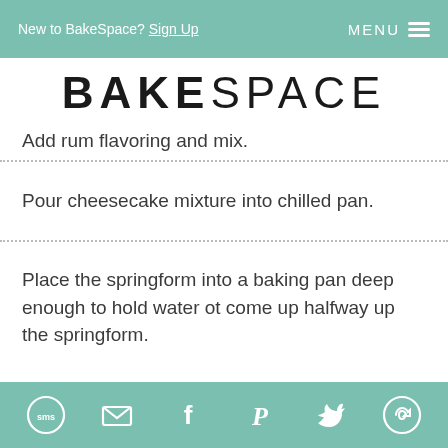New to BakeSpace? Sign Up   MENU
[Figure (logo): BAKESPACE logo in large bold/light mixed typography]
Add rum flavoring and mix.
Pour cheesecake mixture into chilled pan.
Place the springform into a baking pan deep enough to hold water ot come up halfway up the springform.
SMS  Email  Facebook  Pinterest  Twitter  Share icons